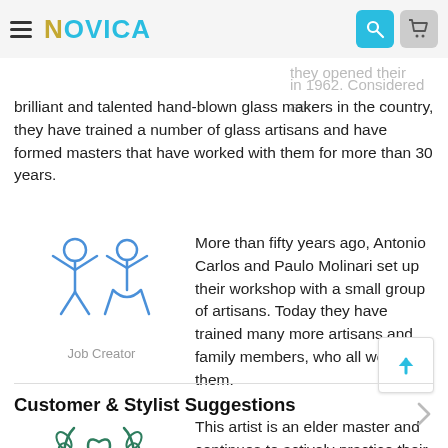NOVICA
brilliant and talented hand-blown glass makers in the country, they have trained a number of glass artisans and have formed masters that have worked with them for more than 30 years.
[Figure (illustration): Icon of two people with arms raised - Job Creator badge]
Job Creator
More than fifty years ago, Antonio Carlos and Paulo Molinari set up their workshop with a small group of artisans. Today they have trained many more artisans and family members, who all work with them.
[Figure (illustration): Icon of a heart with laurel wreath - Elder Master badge]
Elder Master
This artist is an elder master and continues to actively practice their craft.
Customer & Stylist Suggestions